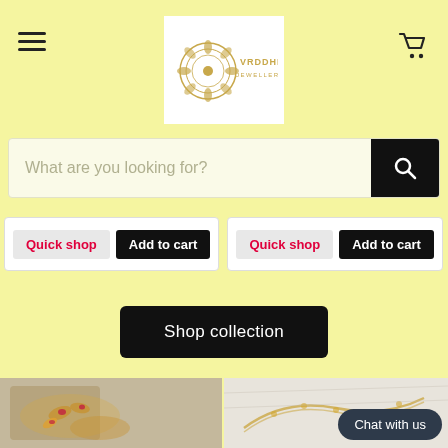[Figure (logo): Vrddhi Jewellery logo in white box, gold mandala design with text VRDDHI JEWELLERY]
What are you looking for?
Quick shop | Add to cart (left product card)
Quick shop | Add to cart (right product card)
Shop collection
[Figure (photo): Gold and ruby jewellery set with earrings and necklace on white fabric background]
[Figure (photo): Gold chain necklace on white fabric background]
Chat with us